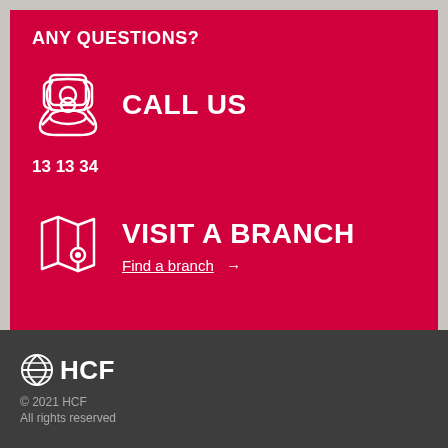ANY QUESTIONS?
CALL US
13 13 34
VISIT A BRANCH
Find a branch →
[Figure (logo): HCF logo with stylized globe/circle icon and HCF text]
© 2021 HCF
All rights reserved